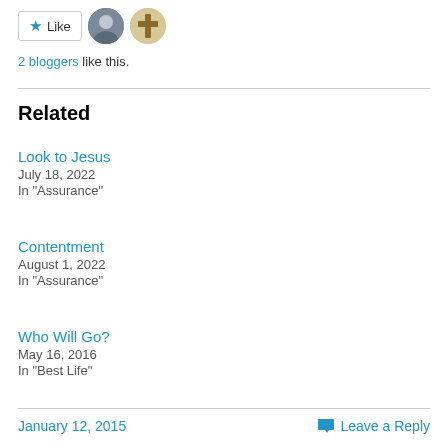[Figure (other): Like button with star icon and two blogger avatar thumbnails]
2 bloggers like this.
Related
Look to Jesus
July 18, 2022
In "Assurance"
Contentment
August 1, 2022
In "Assurance"
Who Will Go?
May 16, 2016
In "Best Life"
January 12, 2015    Leave a Reply